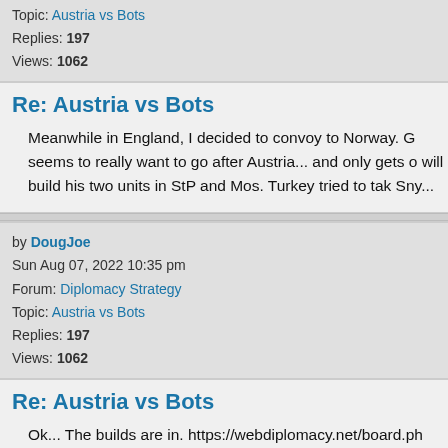Topic: Austria vs Bots
Replies: 197
Views: 1062
Re: Austria vs Bots
Meanwhile in England, I decided to convoy to Norway. G seems to really want to go after Austria... and only gets o will build his two units in StP and Mos. Turkey tried to tak Sny...
by DougJoe
Sun Aug 07, 2022 10:35 pm
Forum: Diplomacy Strategy
Topic: Austria vs Bots
Replies: 197
Views: 1062
Re: Austria vs Bots
Ok... The builds are in. https://webdiplomacy.net/board.ph Including Brest, Smyrna, Naples and Sevastopol. My pla spring, move to the Aegean and take Rumania in the fall. Rumania ...